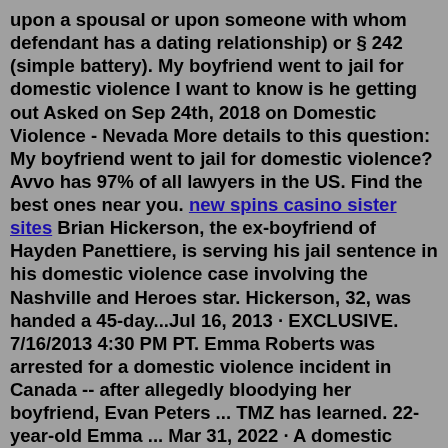upon a spousal or upon someone with whom defendant has a dating relationship) or § 242 (simple battery). My boyfriend went to jail for domestic violence I want to know is he getting out Asked on Sep 24th, 2018 on Domestic Violence - Nevada More details to this question: My boyfriend went to jail for domestic violence? Avvo has 97% of all lawyers in the US. Find the best ones near you. new spins casino sister sites Brian Hickerson, the ex-boyfriend of Hayden Panettiere, is serving his jail sentence in his domestic violence case involving the Nashville and Heroes star. Hickerson, 32, was handed a 45-day...Jul 16, 2013 · EXCLUSIVE. 7/16/2013 4:30 PM PT. Emma Roberts was arrested for a domestic violence incident in Canada -- after allegedly bloodying her boyfriend, Evan Peters ... TMZ has learned. 22-year-old Emma ... Mar 31, 2022 · A domestic violence offence is when you have a domestic relationship with another person and you: assault, or attempt or threaten to assault, that person. destroy or damage their property, or harm their animal (or threaten to do so).